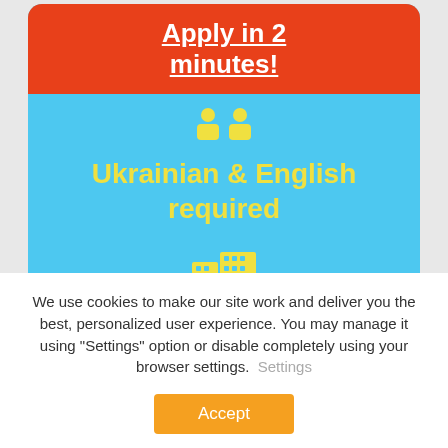Apply in 2 minutes!
Ukrainian & English required
Remote from Lisbon, Portugal
We use cookies to make our site work and deliver you the best, personalized user experience. You may manage it using "Settings" option or disable completely using your browser settings.  Settings
Accept